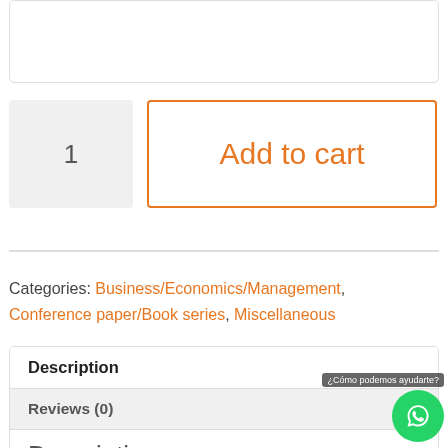[Figure (screenshot): Input/text area box with rounded border at the top of the page]
[Figure (screenshot): Quantity input box showing '1' and an orange-bordered 'Add to cart' button]
Categories: Business/Economics/Management, Conference paper/Book series, Miscellaneous
Description
Reviews (0)
Description
¿Cómo podemos ayudarte?
If you select this plan, you will